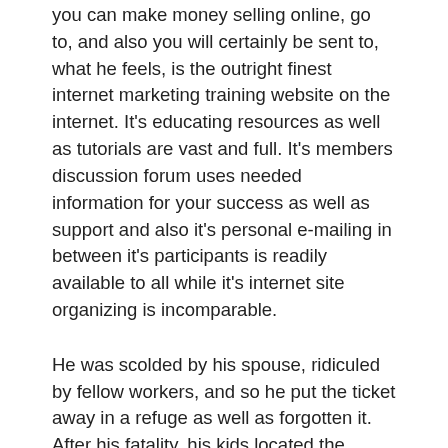you can make money selling online, go to, and also you will certainly be sent to, what he feels, is the outright finest internet marketing training website on the internet. It's educating resources as well as tutorials are vast and full. It's members discussion forum uses needed information for your success as well as support and also it's personal e-mailing in between it's participants is readily available to all while it's internet site organizing is incomparable.
He was scolded by his spouse, ridiculed by fellow workers, and so he put the ticket away in a refuge as well as forgotten it. After his fatality, his kids located the ticket, and also located that his number had actually hit, and that he had actually left countless bucks unclaimed. Currently, I do not excuse acquiring lotto tickets, yet, if you have actually currently undergone the problem of doing the job– you might as well follow up and see what completion result was! This is the piece of